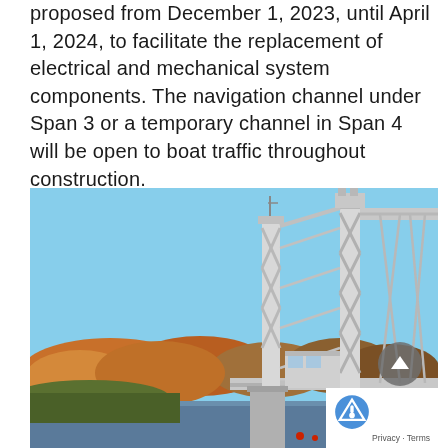proposed from December 1, 2023, until April 1, 2024, to facilitate the replacement of electrical and mechanical system components. The navigation channel under Span 3 or a temporary channel in Span 4 will be open to boat traffic throughout construction.
[Figure (photo): Photograph of a steel truss drawbridge (bascule or lift bridge) taken from below and to the side, showing the white painted steel truss structure against a clear blue sky, with autumn-foliage trees and a river/waterway visible in the background.]